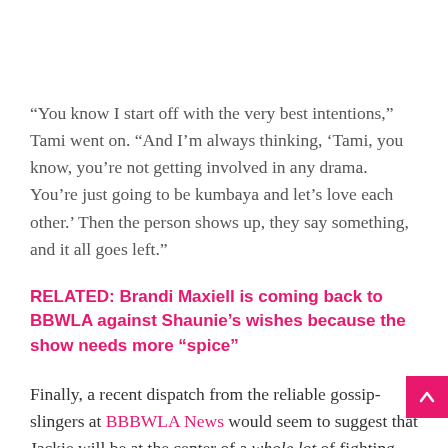“You know I start off with the very best intentions,” Tami went on. “And I’m always thinking, ‘Tami, you know, you’re not getting involved in any drama. You’re just going to be kumbaya and let’s love each other.’ Then the person shows up, they say something, and it all goes left.”
RELATED: Brandi Maxiell is coming back to BBWLA against Shaunie’s wishes because the show needs more “spice”
Finally, a recent dispatch from the reliable gossip-slingers at BBBWLA News would seem to suggest that Jackie will be at the center of a whole lot of fighting this year. Their sources indicate that viewers should expect full-on brawling and / or